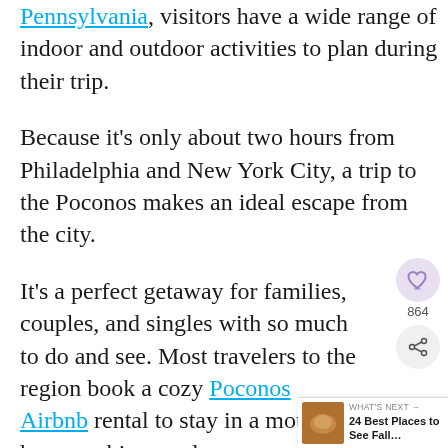Pennsylvania, visitors have a wide range of indoor and outdoor activities to plan during their trip.
Because it's only about two hours from Philadelphia and New York City, a trip to the Poconos makes an ideal escape from the city.
It's a perfect getaway for families, couples, and singles with so much to do and see. Most travelers to the region book a cozy Poconos Airbnb rental to stay in a mountain h[ome,] cabin, or a large group home.